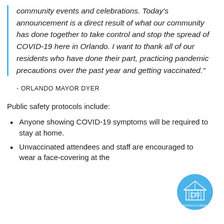community events and celebrations. Today's announcement is a direct result of what our community has done together to take control and stop the spread of COVID-19 here in Orlando. I want to thank all of our residents who have done their part, practicing pandemic precautions over the past year and getting vaccinated.”
- ORLANDO MAYOR DYER
Public safety protocols include:
Anyone showing COVID-19 symptoms will be required to stay at home.
Unvaccinated attendees and staff are encouraged to wear a face-covering at the
[Figure (logo): Bungalower logo: circular blue badge with a house/building illustration and the text BUNGALOWER around the bottom]